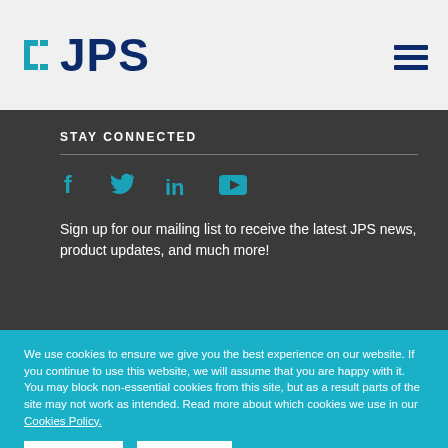[Figure (logo): JPS logo with teal bracket/J icon and dark blue JPS text, plus hamburger menu icon]
STAY CONNECTED
[Figure (infographic): Social media icons: Facebook (f), Twitter (bird), LinkedIn (in), YouTube (play button) in teal color]
Sign up for our mailing list to receive the latest JPS news, product updates, and much more!
We use cookies to ensure we give you the best experience on our website. If you continue to use this website, we will assume that you are happy with it. You may block non-essential cookies from this site, but as a result parts of the site may not work as intended. Read more about which cookies we use in our Cookies Policy.
Accept All | Reject All